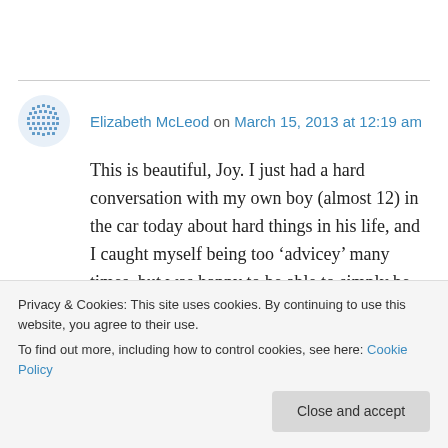Elizabeth McLeod on March 15, 2013 at 12:19 am
This is beautiful, Joy. I just had a hard conversation with my own boy (almost 12) in the car today about hard things in his life, and I caught myself being too ‘advicey’ many times, but was happy to be able to simply be there for him and witness/listen, even though it is so
Privacy & Cookies: This site uses cookies. By continuing to use this website, you agree to their use. To find out more, including how to control cookies, see here: Cookie Policy